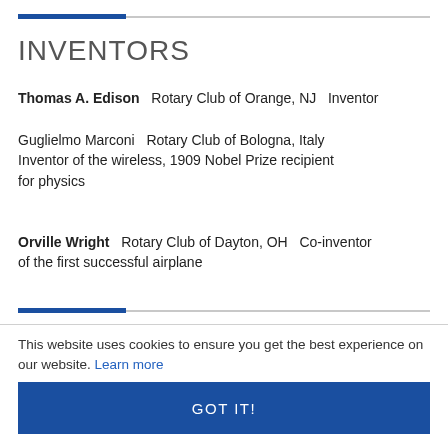INVENTORS
Thomas A. Edison   Rotary Club of Orange, NJ   Inventor
Guglielmo Marconi   Rotary Club of Bologna, Italy   Inventor of the wireless, 1909 Nobel Prize recipient for physics
Orville Wright   Rotary Club of Dayton, OH   Co-inventor of the first successful airplane
This website uses cookies to ensure you get the best experience on our website. Learn more
GOT IT!